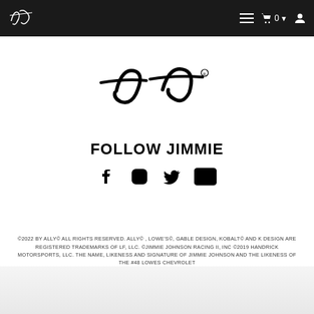Navigation bar with logo, menu, cart (0), and account icons
[Figure (logo): Jimmie Johnson stylized '48' script signature logo in black on white background]
FOLLOW JIMMIE
[Figure (infographic): Social media icons row: Facebook, Instagram, Twitter, YouTube]
©2022 BY ALLY© ALL RIGHTS RESERVED. ALLY© , LOWE'S©, GABLE DESIGN, KOBALT© AND K DESIGN ARE REGISTERED TRADEMARKS OF LF, LLC. ©JIMMIE JOHNSON RACING II, INC ©2019 HANDRICK MOTORSPORTS, LLC. THE NAME, LIKENESS AND SIGNATURE OF JIMMIE JOHNSON AND THE LIKENESS OF THE #48 LOWES CHEVROLET